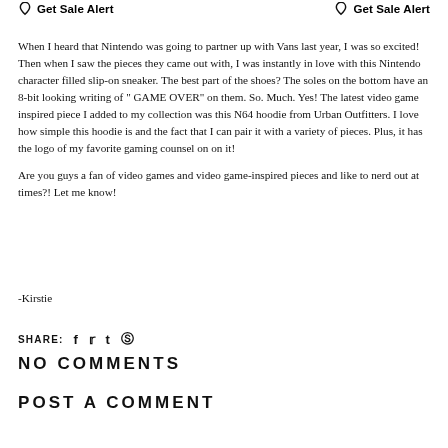Get Sale Alert   Get Sale Alert
When I heard that Nintendo was going to partner up with Vans last year, I was so excited! Then when I saw the pieces they came out with, I was instantly in love with this Nintendo character filled slip-on sneaker. The best part of the shoes? The soles on the bottom have an 8-bit looking writing of " GAME OVER" on them. So. Much. Yes! The latest video game inspired piece I added to my collection was this N64 hoodie from Urban Outfitters. I love how simple this hoodie is and the fact that I can pair it with a variety of pieces. Plus, it has the logo of my favorite gaming counsel on on it!
Are you guys a fan of video games and video game-inspired pieces and like to nerd out at times?! Let me know!
-Kirstie
SHARE:
NO COMMENTS
POST A COMMENT